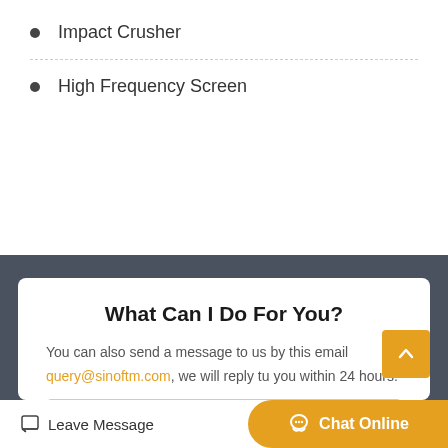Impact Crusher
High Frequency Screen
What Can I Do For You?
You can also send a message to us by this email query@sinoftm.com, we will reply tu you within 24 hours.
Product Name*
Leave Message  Chat Online